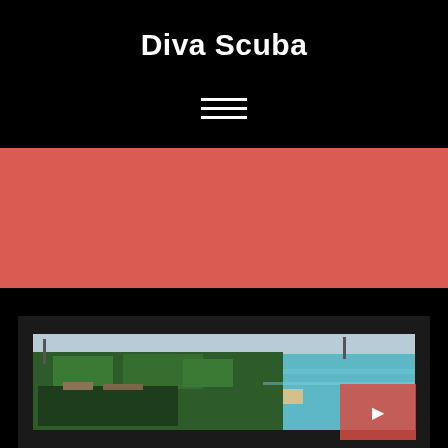Diva Scuba
[Figure (other): Hamburger menu icon with three horizontal white lines on black background]
[Figure (other): Solid coral/red-salmon colored horizontal banner section]
[Figure (photo): Aerial photograph of a tropical coastal resort with lush green palm trees, beach, and turquoise ocean water. A coral red overlay box with an icon appears in the lower right corner of the image.]